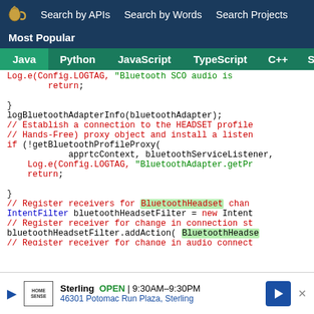Search by APIs  Search by Words  Search Projects
Most Popular
Java  Python  JavaScript  TypeScript  C++  Scala
[Figure (screenshot): Code snippet showing Java Bluetooth adapter initialization with syntax highlighting. Contains comments about establishing HEADSET profile, Hands-Free proxy, registering receivers for BluetoothHeadset changes, IntentFilter setup, and BluetoothHeadsetFilter.addAction calls.]
Sterling  OPEN  9:30AM-9:30PM  46301 Potomac Run Plaza, Sterling